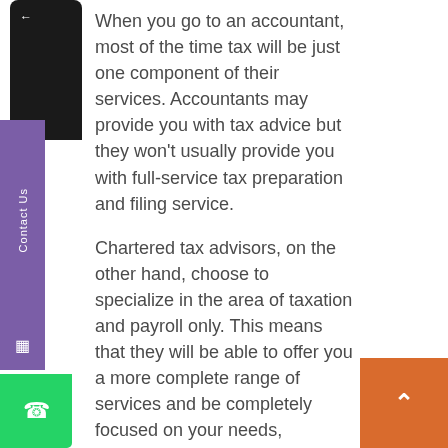When you go to an accountant, most of the time tax will be just one component of their services. Accountants may provide you with tax advice but they won't usually provide you with full-service tax preparation and filing service.
Chartered tax advisors, on the other hand, choose to specialize in the area of taxation and payroll only. This means that they will be able to offer you a more complete range of services and be completely focused on your needs, enabling them to better assist your business with: